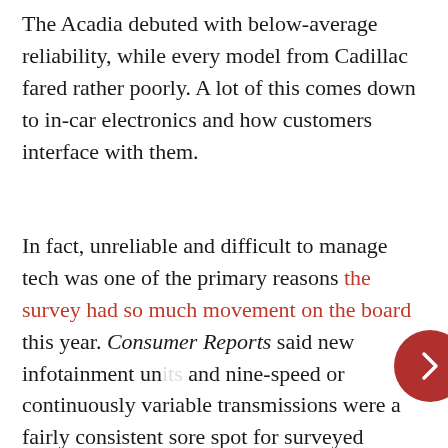The Acadia debuted with below-average reliability, while every model from Cadillac fared rather poorly. A lot of this comes down to in-car electronics and how customers interface with them.
In fact, unreliable and difficult to manage tech was one of the primary reasons the survey had so much movement on the board this year. Consumer Reports said new infotainment units and nine-speed or continuously variable transmissions were a fairly consistent sore spot for surveyed individuals. In fact, complaints related to all manner of in-car electronics doubled for first-year models in 2017.